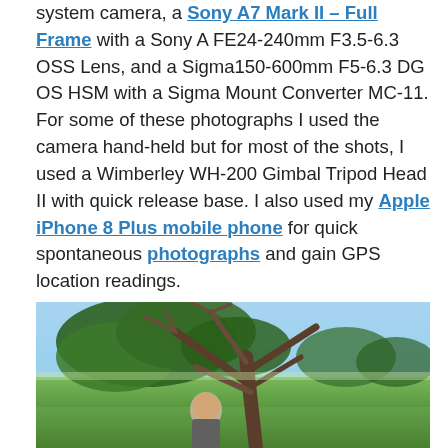system camera, a Sony A7 Mark II – Full Frame with a Sony A FE24-240mm F3.5-6.3 OSS Lens, and a Sigma150-600mm F5-6.3 DG OS HSM with a Sigma Mount Converter MC-11. For some of these photographs I used the camera hand-held but for most of the shots, I used a Wimberley WH-200 Gimbal Tripod Head II with quick release base. I also used my Apple iPhone 8 Plus mobile phone for quick spontaneous photographs and gain GPS location readings.
[Figure (photo): Outdoor photo showing a large tree with spreading branches against a blue sky, green landscape, and a person with long grey/white hair standing beneath the tree.]